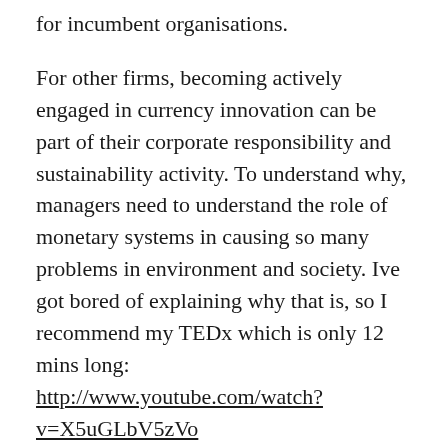for incumbent organisations.
For other firms, becoming actively engaged in currency innovation can be part of their corporate responsibility and sustainability activity. To understand why, managers need to understand the role of monetary systems in causing so many problems in environment and society. Ive got bored of explaining why that is, so I recommend my TEDx which is only 12 mins long: http://www.youtube.com/watch?v=X5uGLbV5zVo
What next?
There is a lot of misunderstanding. So we need